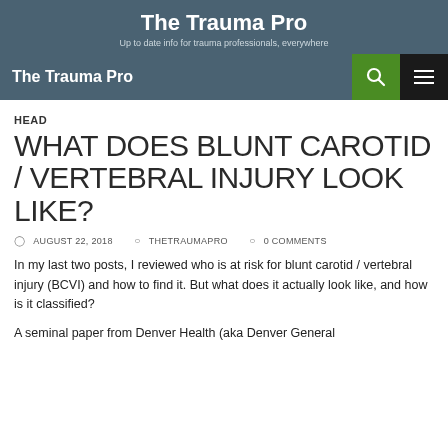The Trauma Pro — Up to date info for trauma professionals, everywhere
HEAD
WHAT DOES BLUNT CAROTID / VERTEBRAL INJURY LOOK LIKE?
AUGUST 22, 2018  THETRAUMAPRO  0 COMMENTS
In my last two posts, I reviewed who is at risk for blunt carotid / vertebral injury (BCVI) and how to find it. But what does it actually look like, and how is it classified?
A seminal paper from Denver Health (aka Denver General